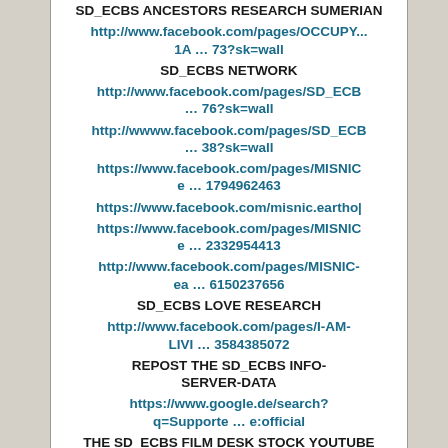SD_ECBS ANCESTORS RESEARCH SUMERIAN
http://www.facebook.com/pages/OCCUPY...1A … 73?sk=wall
SD_ECBS NETWORK
http://www.facebook.com/pages/SD_ECB… 76?sk=wall
http://wwww.facebook.com/pages/SD_ECB… 38?sk=wall
https://www.facebook.com/pages/MISNICe … 1794962463
https://www.facebook.com/misnic.eartho|
https://www.facebook.com/pages/MISNICe … 2332954413
http://www.facebook.com/pages/MISNIC-ea … 6150237656
SD_ECBS LOVE RESEARCH
http://www.facebook.com/pages/I-AM-LIVI … 3584385072
REPOST THE SD_ECBS INFO-SERVER-DATA
https://www.google.de/search?q=Supporte … e:official
THE SD_ECBS FILM DESK STOCK YOUTUBE
http://www.youtube.com/user/MrMubbs/v… =0&sort=dd
SD_ECBS FILM DESK STOCK ON MYSPACE
https://myspace.com/earthoptimization/vi
SD_ECBS BLOG ON GOOGLES